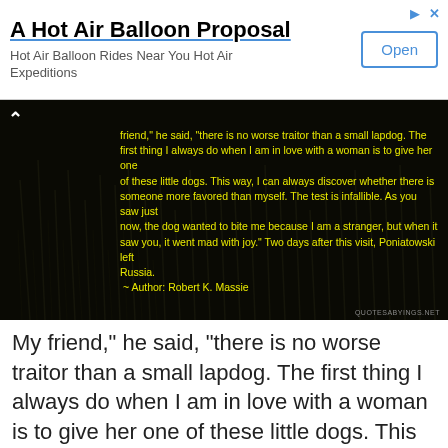[Figure (other): Advertisement banner for 'A Hot Air Balloon Proposal' with title, subtitle 'Hot Air Balloon Rides Near You Hot Air Expeditions', and an Open button.]
[Figure (photo): Dark background image (grass/reeds at night) with yellow text quote: 'friend," he said, "there is no worse traitor than a small lapdog. The first thing I always do when I am in love with a woman is to give her one of these little dogs. This way, I can always discover whether there is someone more favored than myself. The test is infallible. As you saw just now, the dog wanted to bite me because I am a stranger, but when it saw you, it went mad with joy." Two days after this visit, Poniatowski left Russia. ~ Author: Robert K. Massie']
My friend," he said, "there is no worse traitor than a small lapdog. The first thing I always do when I am in love with a woman is to give her one of these little dogs. This way, I can always discover whether there is someone more favored than myself. The test is